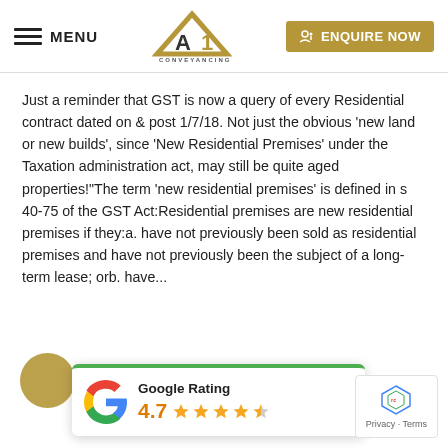MENU | A1 Conveyancing | ENQUIRE NOW
Just a reminder that GST is now a query of every Residential contract dated on & post 1/7/18. Not just the obvious ‘new land or new builds’, since ‘New Residential Premises’ under the Taxation administration act, may still be quite aged properties!“The term ‘new residential premises’ is defined in s 40-75 of the GST Act:Residential premises are new residential premises if they:a. have not previously been sold as residential premises and have not previously been the subject of a long-term lease; orb. have...
[Figure (logo): Google Rating card showing 4.7 stars with Google G logo]